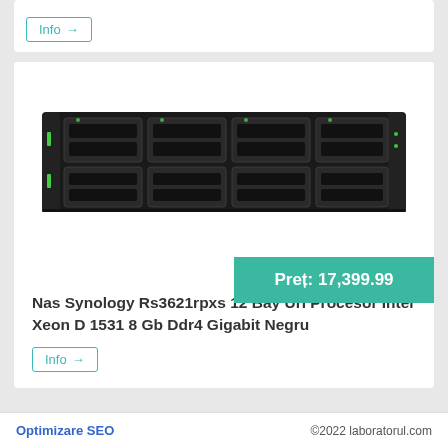[Figure (other): Info button with arrow at top of page]
[Figure (photo): Synology RS3621rpxs 12-bay NAS server unit, black rack-mount device with multiple drive bays]
Preț: 17,399.99
Nas Synology Rs3621rpxs 12 Bay Uri Procesor Intel Xeon D 1531 8 Gb Ddr4 Gigabit Negru
[Figure (other): Info button with arrow]
Optimizare SEO   ©2022 laboratorul.com